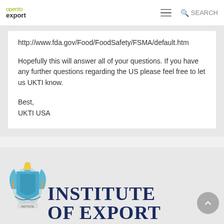open to export | SEARCH
http://www.fda.gov/Food/FoodSafety/FSMA/default.htm
Hopefully this will answer all of your questions. If you have any further questions regarding the US please feel free to let us UKTI know.
Best,
UKTI USA
Powered By
[Figure (logo): Institute of Export logo with crest and navy text reading INSTITUTE OF EXPORT]